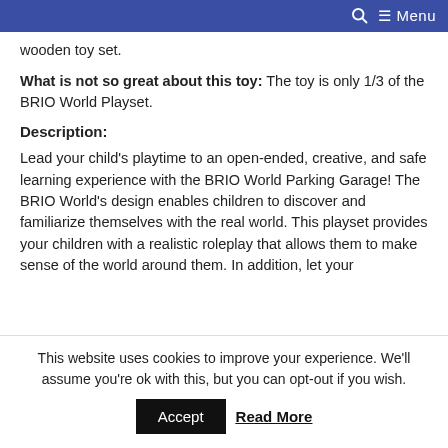🔍 ☰ Menu
wooden toy set.
What is not so great about this toy: The toy is only 1/3 of the BRIO World Playset.
Description:
Lead your child's playtime to an open-ended, creative, and safe learning experience with the BRIO World Parking Garage! The BRIO World's design enables children to discover and familiarize themselves with the real world. This playset provides your children with a realistic roleplay that allows them to make sense of the world around them. In addition, let your
This website uses cookies to improve your experience. We'll assume you're ok with this, but you can opt-out if you wish.
Accept   Read More